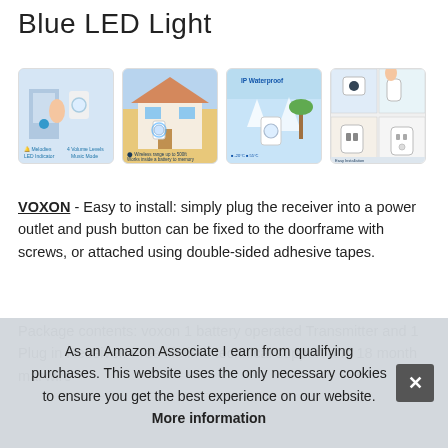Blue LED Light
[Figure (photo): Four product thumbnail images of a wireless doorbell with blue LED, showing device features and installation]
VOXON - Easy to install: simply plug the receiver into a power outlet and push button can be fixed to the doorframe with screws, or attached using double-sided adhesive tapes.
Package contents: voxon 1 battery operated Transmitter and 1 Plug in Receiver. Free lifetime technical support and 18 month warranty... wire
As an Amazon Associate I earn from qualifying purchases. This website uses the only necessary cookies to ensure you get the best experience on our website. More information